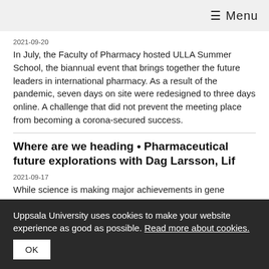≡ Menu
2021-09-20
In July, the Faculty of Pharmacy hosted ULLA Summer School, the biannual event that brings together the future leaders in international pharmacy. As a result of the pandemic, seven days on site were redesigned to three days online. A challenge that did not prevent the meeting place from becoming a corona-secured success.
Where are we heading • Pharmaceutical future explorations with Dag Larsson, Lif
2021-09-17
While science is making major achievements in gene
Uppsala University uses cookies to make your website experience as good as possible. Read more about cookies.